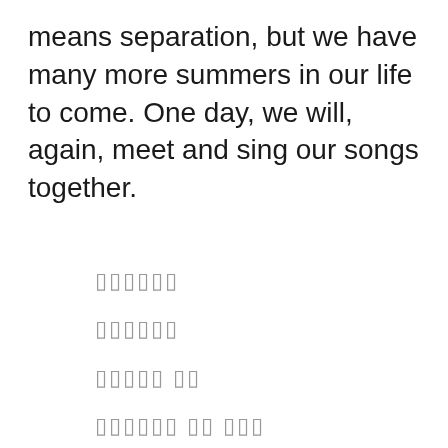means separation, but we have many more summers in our life to come. One day, we will, again, meet and sing our songs together.
▯▯▯▯▯▯
▯▯▯▯▯▯
▯▯▯▯▯ ▯▯
▯▯▯▯▯▯ ▯▯ ▯▯▯
▯▯▯▯▯▯
▯▯▯▯▯▯ ▯▯▯